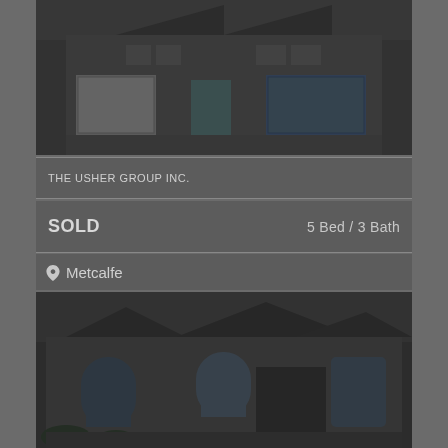[Figure (photo): Exterior photo of a townhouse/semi-detached home with two garage doors, one with blue door, gray siding and brick, darkened/dimmed image]
THE USHER GROUP INC.
SOLD    5 Bed / 3 Bath
📍 Metcalfe
[Figure (photo): Exterior photo of a large brick home with arched windows and garage doors, darkened/dimmed image, with Facebook message overlay]
Message us on Facebook!